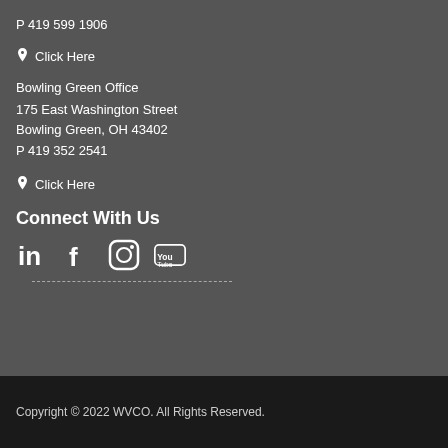P 419 599 1906
📍 Click Here
Bowling Green Office
175 East Washington Street
Bowling Green, OH 43402
P 419 352 2541
📍 Click Here
Connect With Us
[Figure (illustration): Social media icons: LinkedIn, Facebook, Instagram, YouTube]
Copyright © 2022 WVCO. All Rights Reserved.